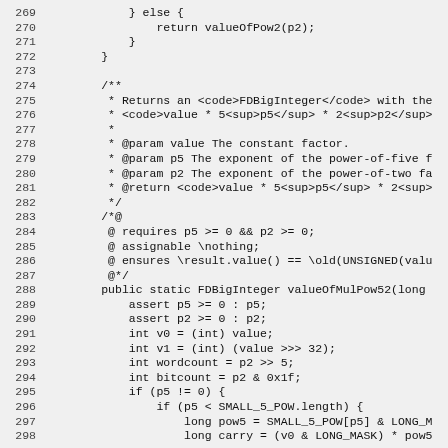[Figure (screenshot): Source code listing showing Java code lines 269-298, including a method comment and public static method valueOfMulPow52 with JML annotations.]